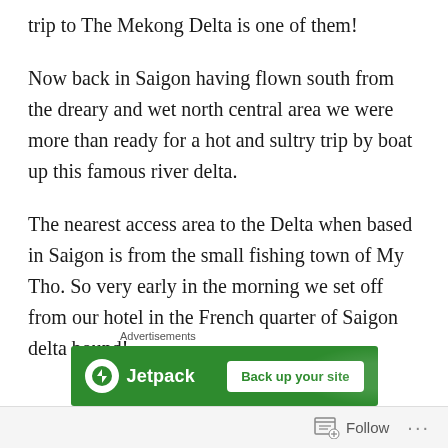trip to The Mekong Delta is one of them!
Now back in Saigon having flown south from the dreary and wet north central area we were more than ready for a hot and sultry trip by boat up this famous river delta.
The nearest access area to the Delta when based in Saigon is from the small fishing town of My Tho. So very early in the morning we set off from our hotel in the French quarter of Saigon delta bound!
Advertisements
[Figure (other): Jetpack advertisement banner with green background showing Jetpack logo and 'Back up your site' button]
Follow ...